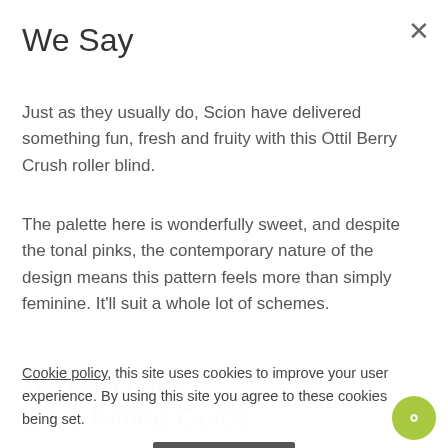We Say
Just as they usually do, Scion have delivered something fun, fresh and fruity with this Ottil Berry Crush roller blind.
The palette here is wonderfully sweet, and despite the tonal pinks, the contemporary nature of the design means this pattern feels more than simply feminine. It'll suit a whole lot of schemes.
The Finer Details
Easy Fitting Guide
Cookie policy, this site uses cookies to improve your user experience. By using this site you agree to these cookies being set.